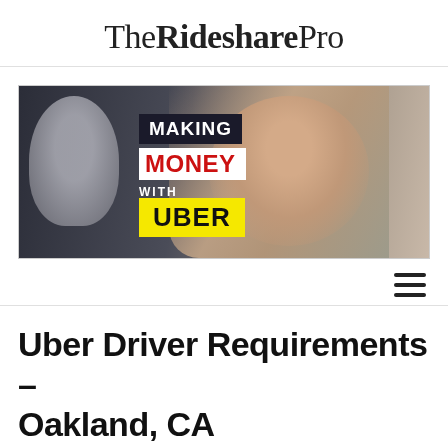The Rideshare Pro
[Figure (photo): Promotional banner with text 'MAKING MONEY WITH UBER' overlaid on a photo of a smiling man sitting in a car. MAKING is in white text on dark background, MONEY is in red bold text, WITH is in small white text, UBER is in black bold text on yellow background.]
Uber Driver Requirements – Oakland, CA